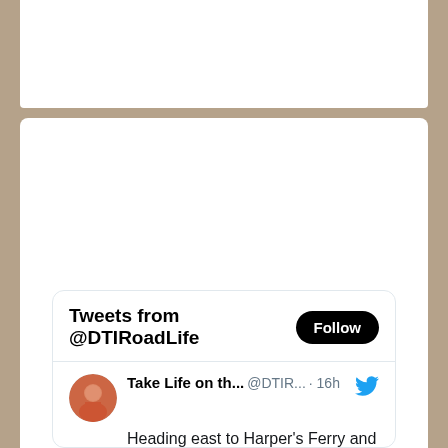Get news first on Twitter
Tweets from @DTIRoadLife
Take Life on th... @DTIR... · 16h
Heading east to Harper's Ferry and nearby sites. Will report, accepting reccos.
[Figure (screenshot): Twitter widget showing a tweet from @DTIRoadLife with a video thumbnail of Civil War reenactors with caption 'Keep a clear eye' and a blue play button overlay]
Keep a clear eye